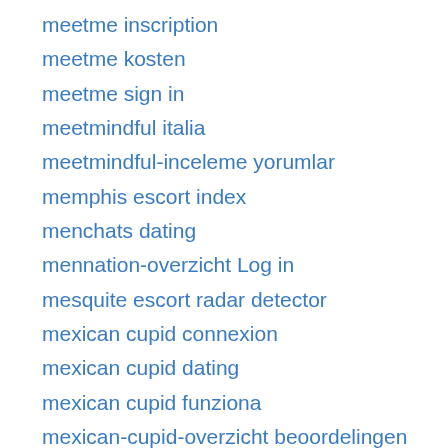meetme inscription
meetme kosten
meetme sign in
meetmindful italia
meetmindful-inceleme yorumlar
memphis escort index
menchats dating
mennation-overzicht Log in
mesquite escort radar detector
mexican cupid connexion
mexican cupid dating
mexican cupid funziona
mexican-cupid-overzicht beoordelingen
mexico-chat-rooms sign in
mexikanische-dating-sites seiten